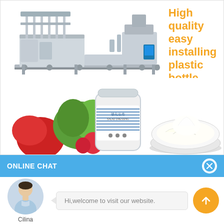[Figure (photo): Industrial bottle filling and capping machine production line (stainless steel, conveyor belt system with multiple filling heads and capping stations)]
High quality easy installing plastic bottle detergent
[Figure (photo): Product photos: a jar of salad dressing with vegetables (tomatoes, lettuce) and strawberries, alongside a bowl of white creamy sauce/mayonnaise]
ONLINE CHAT
[Figure (photo): Avatar photo of a woman named Cilina in a light blue shirt]
Hi,welcome to visit our website.
Cilina